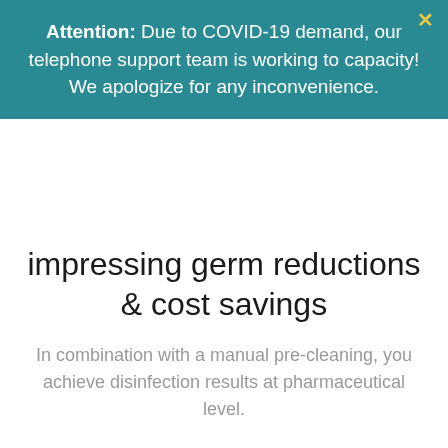Attention: Due to COVID-19 demand, our telephone support team is working to capacity! We apologize for any inconvenience.
impressing germ reductions & cost savings
In combination with a manual pre-cleaning, you achieve disinfection results at pharmaceutical level.
[Figure (illustration): Graduation cap icon in blue]
Numerous national and international postmaking